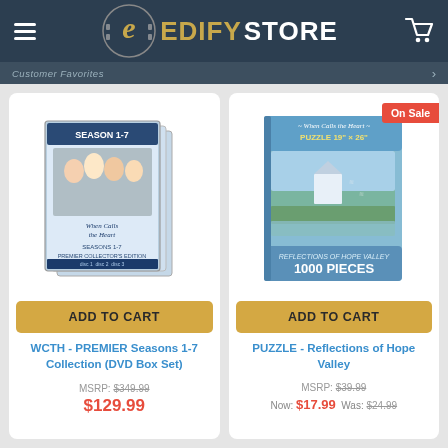EDIFY STORE
[Figure (photo): WCTH - PREMIER Seasons 1-7 Collection DVD Box Set product image]
ADD TO CART
WCTH - PREMIER Seasons 1-7 Collection (DVD Box Set)
MSRP: $349.99
$129.99
[Figure (photo): PUZZLE - Reflections of Hope Valley 1000 pieces product box image]
ADD TO CART
PUZZLE - Reflections of Hope Valley
MSRP: $39.99
Now: $17.99  Was: $24.99